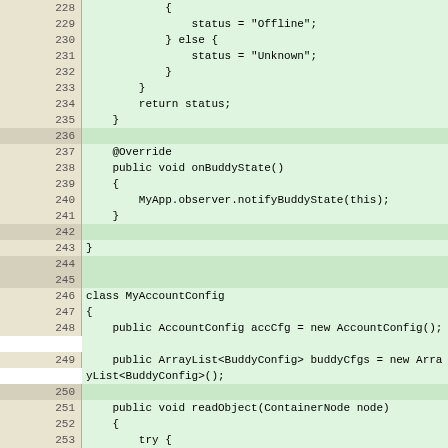Source code listing lines 228-256, Java code showing buddy status and account config classes